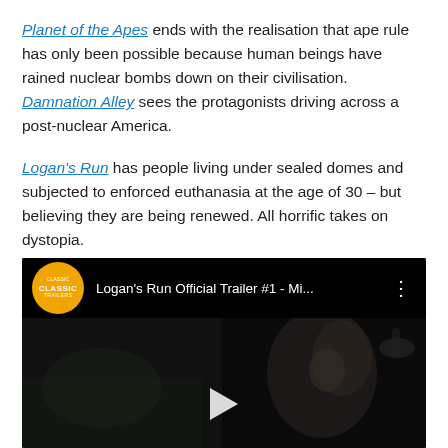Planet of the Apes ends with the realisation that ape rule has only been possible because human beings have rained nuclear bombs down on their civilisation. Damnation Alley sees the protagonists driving across a post-nuclear America.
Logan's Run has people living under sealed domes and subjected to enforced euthanasia at the age of 30 – but believing they are being renewed. All horrific takes on dystopia.
[Figure (screenshot): YouTube video thumbnail for Logan's Run Official Trailer #1 - Mi... showing a dark cinematic scene with a Classic Trailers channel logo (orange circle) and a play button]